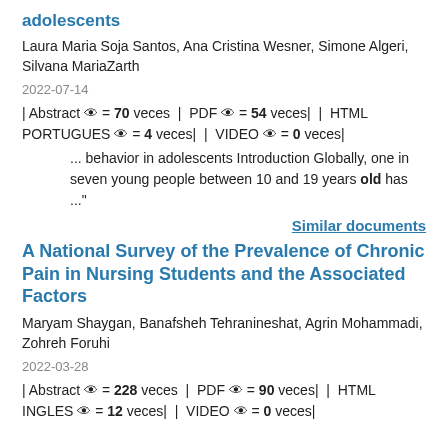adolescents
Laura Maria Soja Santos, Ana Cristina Wesner, Simone Algeri, Silvana MariaZarth
2022-07-14
| Abstract 👁 = 70 veces |  PDF 👁 = 54 veces|  |  HTML PORTUGUES 👁 = 4 veces|  |  VIDEO 👁 = 0 veces|
... behavior in adolescents Introduction Globally, one in seven young people between 10 and 19 years old has ..."
Similar documents
A National Survey of the Prevalence of Chronic Pain in Nursing Students and the Associated Factors
Maryam Shaygan, Banafsheh Tehranineshat, Agrin Mohammadi, Zohreh Foruhi
2022-03-28
| Abstract 👁 = 228 veces |  PDF 👁 = 90 veces|  |  HTML INGLES 👁 = 12 veces|  |  VIDEO 👁 = 0 veces|